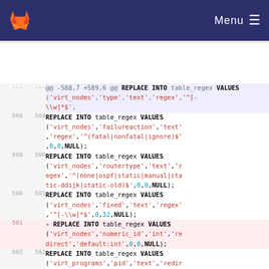GitLab Menu
@@ -588,7 +589,6 @@ REPLACE INTO table_regex VALUES ('virt_nodes','type','text','regex','^[-\\w]*$',
588 589 REPLACE INTO table_regex VALUES ('virt_nodes','failureaction','text','regex','^(fatal|nonfatal|ignore)$',0,0,NULL);
589 590 REPLACE INTO table_regex VALUES ('virt_nodes','routertype','text','regex','^(none|ospf|static|manual|static-ddijk|static-old)$',0,0,NULL);
590 591 REPLACE INTO table_regex VALUES ('virt_nodes','fixed','text','regex','^[-\\w]*$',0,32,NULL);
591 - REPLACE INTO table_regex VALUES ('virt_nodes','numeric_id','int','redirect','default:int',0,0,NULL);
592 592 REPLACE INTO table_regex VALUES ('virt_programs','pid','text','redir